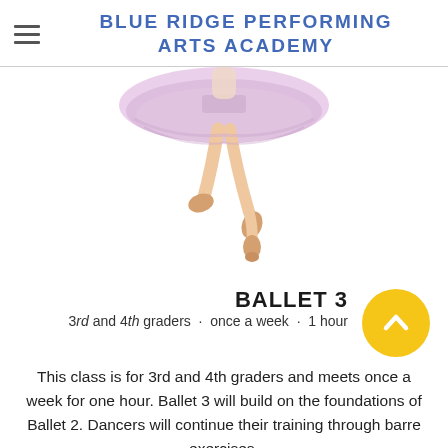BLUE RIDGE PERFORMING ARTS ACADEMY
[Figure (illustration): Partial illustration of a ballet dancer from waist down, wearing a lavender/pink tutu and ballet shoes, jumping or en pointe against white background]
BALLET 3
3rd and 4th graders · once a week · 1 hour
This class is for 3rd and 4th graders and meets once a week for one hour. Ballet 3 will build on the foundations of Ballet 2. Dancers will continue their training through barre exercises,